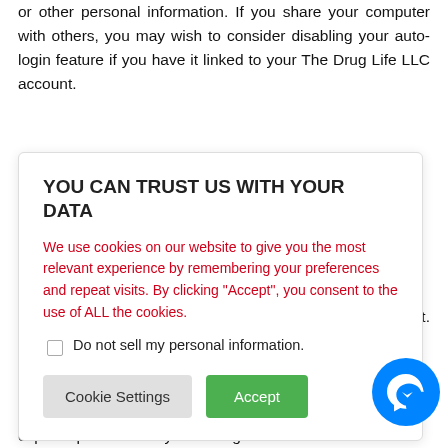or other personal information. If you share your computer with others, you may wish to consider disabling your auto-login feature if you have it linked to your The Drug Life LLC account.
[Figure (screenshot): Cookie consent overlay dialog with title 'YOU CAN TRUST US WITH YOUR DATA', red body text about cookies, a checkbox for 'Do not sell my personal information', and two buttons: 'Cookie Settings' (grey) and 'Accept' (green).]
gal content.
mpt to copy or Website s, unless express permission by The Drug Life LLC.